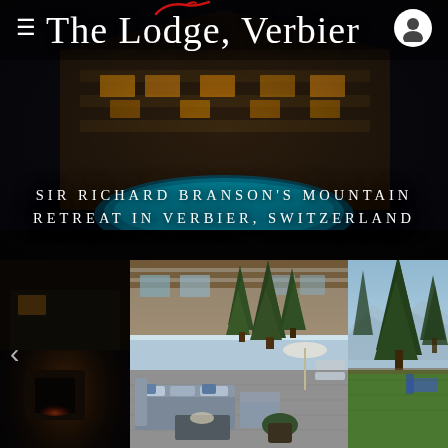[Figure (photo): Hero photo of The Lodge Verbier: luxury mountain chalet at night with illuminated outdoor pool in foreground, warm building lights, dark sky backdrop]
The Lodge, Verbier
SIR RICHARD BRANSON'S MOUNTAIN RETREAT IN VERBIER, SWITZERLAND
[Figure (photo): Bottom gallery strip: left panel shows dark interior/exterior night shot of chalet with warm glow; center panel shows outdoor terrace with modern grey sectional sofa, cushions, coffee table, umbrella, and tall pine trees with wooden chalet facade behind; right panel shows garden/terrace area with large spruce trees and mountain view]